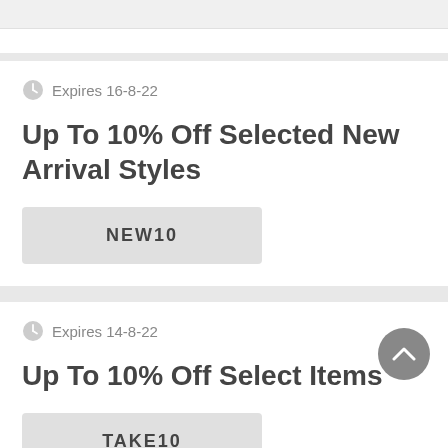Expires 16-8-22
Up To 10% Off Selected New Arrival Styles
NEW10
Expires 14-8-22
Up To 10% Off Select Items
TAKE10